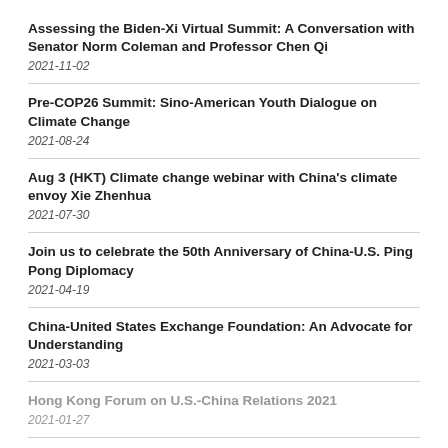Assessing the Biden-Xi Virtual Summit: A Conversation with Senator Norm Coleman and Professor Chen Qi
2021-11-02
Pre-COP26 Summit: Sino-American Youth Dialogue on Climate Change
2021-08-24
Aug 3 (HKT) Climate change webinar with China's climate envoy Xie Zhenhua
2021-07-30
Join us to celebrate the 50th Anniversary of China-U.S. Ping Pong Diplomacy
2021-04-19
China-United States Exchange Foundation: An Advocate for Understanding
2021-03-03
Hong Kong Forum on U.S.-China Relations 2021
2021-01-27